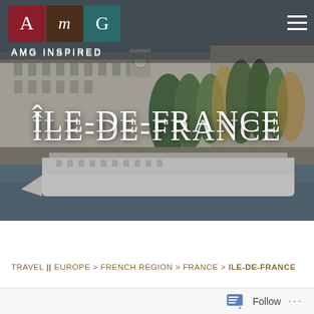[Figure (photo): Hero image of Paris along the Seine river, showing a classic Haussmann-style building (possibly the Louvre or Musée d'Orsay), green trees along the riverbank, and a white river cruise boat on the Seine. The image has a grey-blue sky and warm autumn colors. AMG Inspired logo and navigation header are overlaid at the top.]
AMG INSPIRED
ÎLE-DE-FRANCE
TRAVEL || EUROPE > FRENCH REGION > FRANCE > ILE-DE-FRANCE